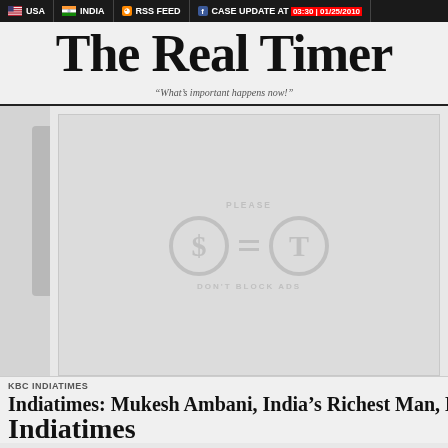USA | INDIA | RSS FEED | FACEBOOK | CASE UPDATE AT 03:30 | 01/25/2010
THE REAL TIMER
“What’s important happens now!”
[Figure (infographic): Ad placeholder with dollar sign circle, equals sign, and letter T circle with text PLEASE / DON'T BLOCK ADS]
KBC INDIATIMES
Indiatimes: Mukesh Ambani, India’s Richest Man, Moves Into The